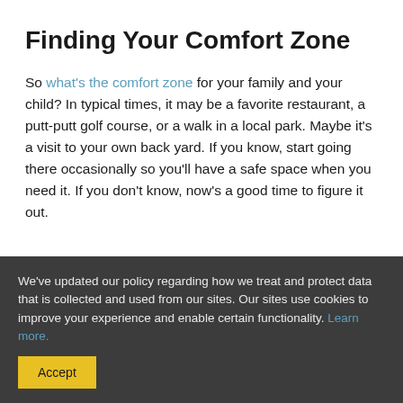Finding Your Comfort Zone
So what's the comfort zone for your family and your child? In typical times, it may be a favorite restaurant, a putt-putt golf course, or a walk in a local park. Maybe it's a visit to your own back yard. If you know, start going there occasionally so you'll have a safe space when you need it. If you don't know, now's a good time to figure it out.
We've updated our policy regarding how we treat and protect data that is collected and used from our sites. Our sites use cookies to improve your experience and enable certain functionality. Learn more.
Accept